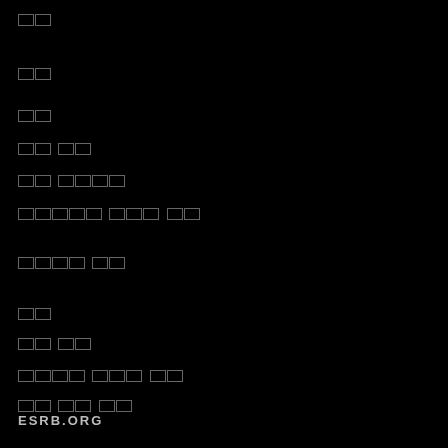[tofu][tofu]
[tofu][tofu]
[tofu][tofu]
[tofu][tofu] [tofu][tofu]
[tofu][tofu] [tofu][tofu][tofu][tofu]
[tofu][tofu][tofu][tofu][tofu] [tofu][tofu][tofu] [tofu][tofu]
[tofu][tofu][tofu][tofu] [tofu][tofu]
[tofu][tofu]
[tofu][tofu] [tofu][tofu]
[tofu][tofu][tofu][tofu] [tofu][tofu][tofu] [tofu][tofu]
[tofu][tofu] [tofu][tofu] [tofu][tofu]
ESRB.ORG